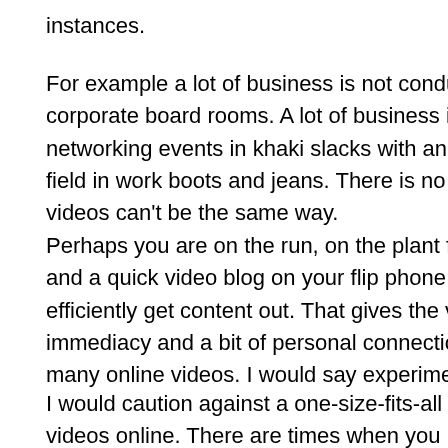instances.
For example a lot of business is not conducted in formal corporate board rooms. A lot of business is conducted at networking events in khaki slacks with an open collar, in the field in work boots and jeans. There is no reason why your videos can't be the same way.
Perhaps you are on the run, on the plant floor or at a site and a quick video blog on your flip phone is the way to efficiently get content out. That gives the video a bit of immediacy and a bit of personal connection that is missing in many online videos. I would say experiment with th
I would caution against a one-size-fits-all approach to videos online. There are times when you have to pu